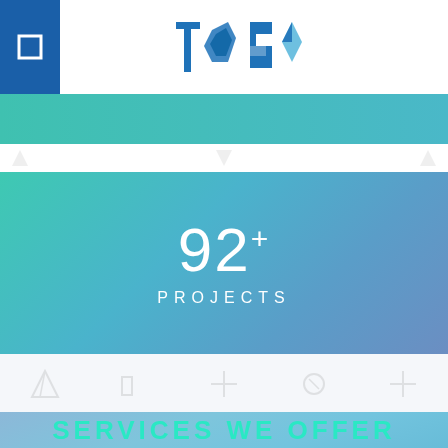[Figure (logo): TOS company logo in blue origami/geometric style lettering]
[Figure (infographic): Teal to blue gradient banner strip]
[Figure (infographic): Gradient teal-blue banner showing 92+ PROJECTS statistic]
[Figure (infographic): Light blue-purple gradient background section with faint icon decorations]
SERVICES WE OFFER